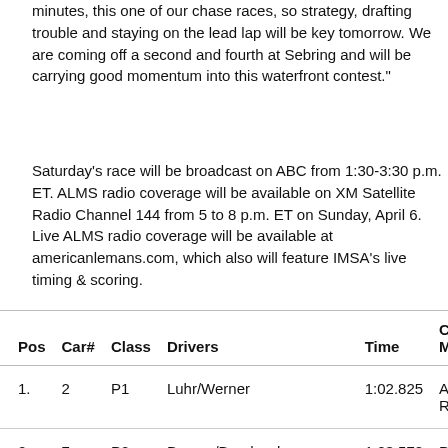minutes, this one of our chase races, so strategy, drafting trouble and staying on the lead lap will be key tomorrow. We are coming off a second and fourth at Sebring and will be carrying good momentum into this waterfront contest."
Saturday's race will be broadcast on ABC from 1:30-3:30 p.m. ET. ALMS radio coverage will be available on XM Satellite Radio Channel 144 from 5 to 8 p.m. ET on Sunday, April 6. Live ALMS radio coverage will be available at americanlemans.com, which also will feature IMSA's live timing & scoring.
| Pos | Car# | Class | Drivers | Time | Car
Mak |
| --- | --- | --- | --- | --- | --- |
| 1. | 2 | P1 | Luhr/Werner | 1:02.825 | Audi R10 |
| 2. | 7 | P2 | Dumas/Bernhard | 1:03.578 ↑ | Pors RS Spyc |
| 3. | 9 | P2 | Brabham/Sharp/Johansson | 1:03.707 | Acur ARX |